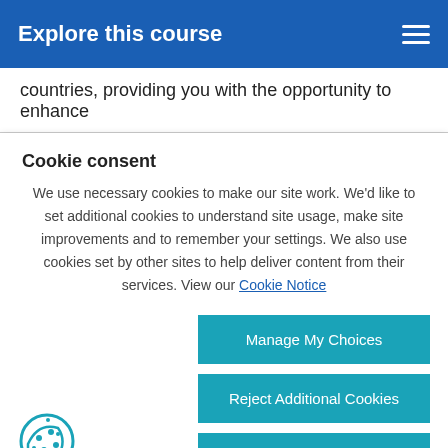Explore this course
countries, providing you with the opportunity to enhance
Cookie consent
We use necessary cookies to make our site work. We'd like to set additional cookies to understand site usage, make site improvements and to remember your settings. We also use cookies set by other sites to help deliver content from their services. View our Cookie Notice
Manage My Choices
Reject Additional Cookies
Accept Additional Cookies